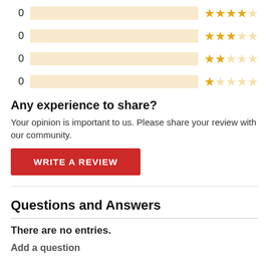[Figure (infographic): Rating distribution bar chart with 3 rows visible: 0 count bars with 3-star, 2-star, and 1-star ratings shown as filled/empty gold stars next to each bar.]
Any experience to share?
Your opinion is important to us. Please share your review with our community.
WRITE A REVIEW
Questions and Answers
There are no entries.
Add a question